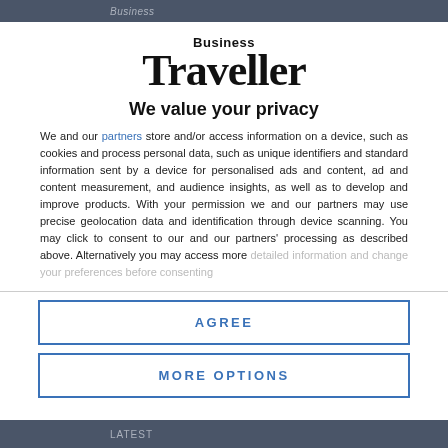Business
[Figure (logo): Business Traveller logo — 'Business' in small bold sans-serif above 'Traveller' in large bold serif font]
We value your privacy
We and our partners store and/or access information on a device, such as cookies and process personal data, such as unique identifiers and standard information sent by a device for personalised ads and content, ad and content measurement, and audience insights, as well as to develop and improve products. With your permission we and our partners may use precise geolocation data and identification through device scanning. You may click to consent to our and our partners' processing as described above. Alternatively you may access more detailed information and change your preferences before consenting
AGREE
MORE OPTIONS
LATEST